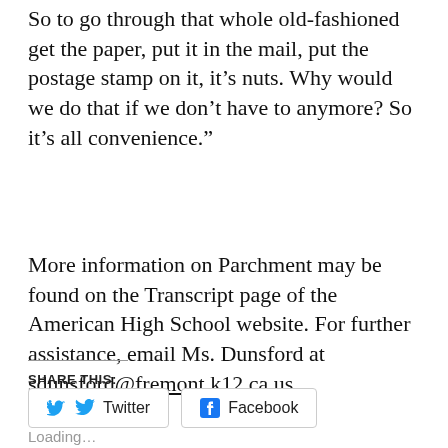So to go through that whole old-fashioned get the paper, put it in the mail, put the postage stamp on it, it’s nuts. Why would we do that if we don’t have to anymore? So it’s all convenience.”
More information on Parchment may be found on the Transcript page of the American High School website. For further assistance, email Ms. Dunsford at sdunsford@fremont.k12.ca.us.
Share This:
Twitter
Facebook
Loading...